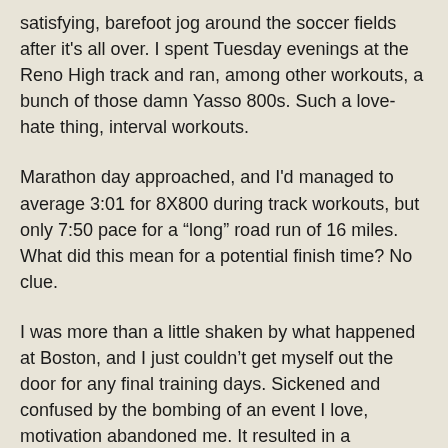satisfying, barefoot jog around the soccer fields after it's all over. I spent Tuesday evenings at the Reno High track and ran, among other workouts, a bunch of those damn Yasso 800s. Such a love-hate thing, interval workouts.
Marathon day approached, and I'd managed to average 3:01 for 8X800 during track workouts, but only 7:50 pace for a “long” road run of 16 miles. What did this mean for a potential finish time? No clue.
I was more than a little shaken by what happened at Boston, and I just couldn't get myself out the door for any final training days. Sickened and confused by the bombing of an event I love, motivation abandoned me. It resulted in a significantly longer taper than I would normally give to a marathon leading into a season of ultras, but whatever. I truly didn't care.
I knew the one thing that might lift my spirits though. Running a marathon.